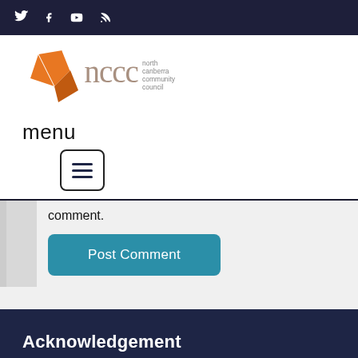Social media icons: Twitter, Facebook, YouTube, RSS
[Figure (logo): North Canberra Community Council logo with orange geometric shape and grey nccc lettering]
menu
[Figure (other): Hamburger menu button icon with three horizontal lines inside a rounded rectangle border]
comment.
Post Comment
Acknowledgement